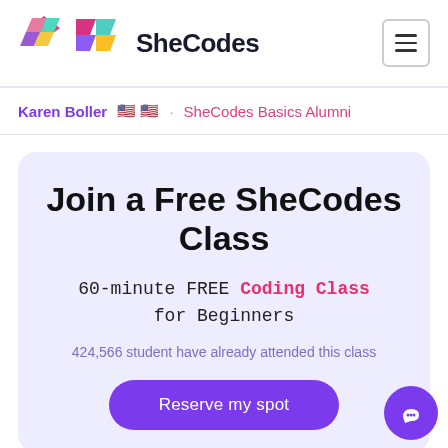SheCodes
Karen Boller 🇺🇸🇺🇸  SheCodes Basics Alumni
Join a Free SheCodes Class
60-minute FREE Coding Class for Beginners
424,566 student have already attended this class
Reserve my spot